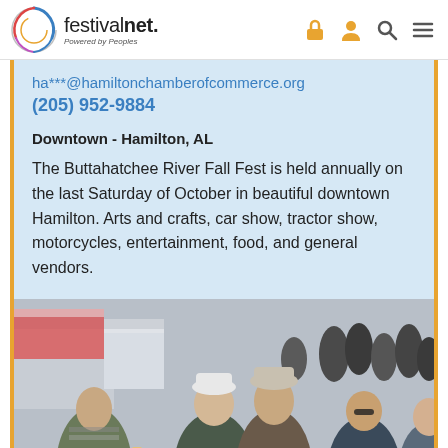festivalnet. Powered by Peoples
ha***@hamiltonchamberofcommerce.org
(205) 952-9884
Downtown - Hamilton, AL
The Buttahatchee River Fall Fest is held annually on the last Saturday of October in beautiful downtown Hamilton. Arts and crafts, car show, tractor show, motorcycles, entertainment, food, and general vendors.
[Figure (photo): Crowd of people at an outdoor festival, shown from a low angle. People are walking and socializing in a street setting with tents and buildings visible in the background.]